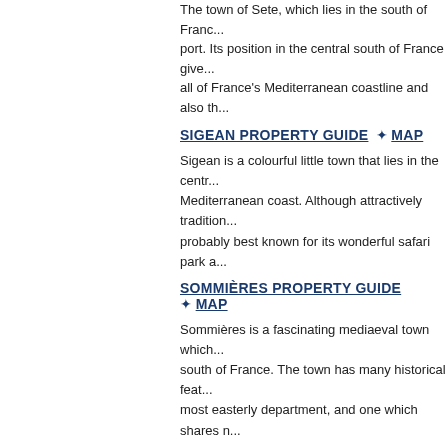The town of Sete, which lies in the south of France... port. Its position in the central south of France give... all of France's Mediterranean coastline and also th...
SIGEAN PROPERTY GUIDE ✿ MAP
Sigean is a colourful little town that lies in the centr... Mediterranean coast. Although attractively tradition... probably best known for its wonderful safari park a...
SOMMIÈRES PROPERTY GUIDE ✿ MAP
Sommières is a fascinating mediaeval town which... south of France. The town has many historical feat... most easterly department, and one which shares n...
SORÈDE PROPERTY GUIDE ✿ MAP
The village of Sorède lies in a delightful location in... where they form a natural border with Spain. This a... packed with history, natural beauty and traditional c... others, if it were not for the final ingredient that ma...
TAUTAVEL PROPERTY GUIDE ✿ MAP
Tautavel is an historic and charming village which i... department in the south of France. Lying not far fro... and the Mediterranean coast, the village is a deligh...
THÉZAN LÈS BÉZIERS PROPERTY GUIDE ✿ M...